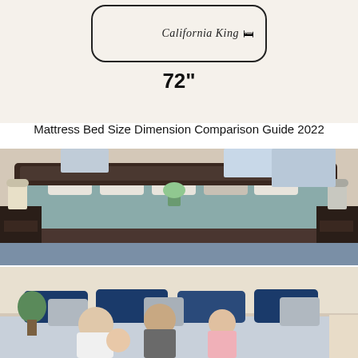[Figure (illustration): Diagram of a California King bed outline with label 'California King' and a bed icon inside a rounded rectangle, with '72"' dimension label below]
Mattress Bed Size Dimension Comparison Guide 2022
[Figure (photo): Photo of a large king bed with grey bedding and decorative headboard in an elegant bedroom with lamps and windows]
[Figure (photo): Photo of a family sitting together on a large bed with navy blue and grey pillows]